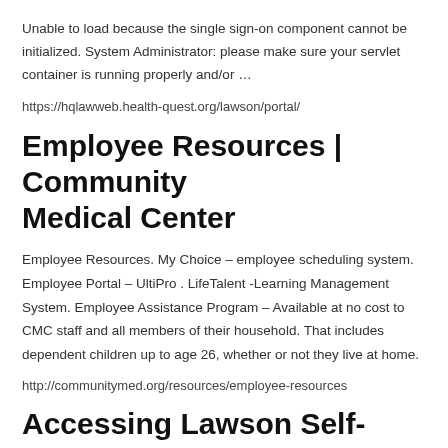Unable to load because the single sign-on component cannot be initialized. System Administrator: please make sure your servlet container is running properly and/or …
https://hqlawweb.health-quest.org/lawson/portal/
Employee Resources | Community Medical Center
Employee Resources. My Choice – employee scheduling system. Employee Portal – UltiPro . LifeTalent -Learning Management System. Employee Assistance Program – Available at no cost to CMC staff and all members of their household. That includes dependent children up to age 26, whether or not they live at home.
http://communitymed.org/resources/employee-resources
Accessing Lawson Self-Services –